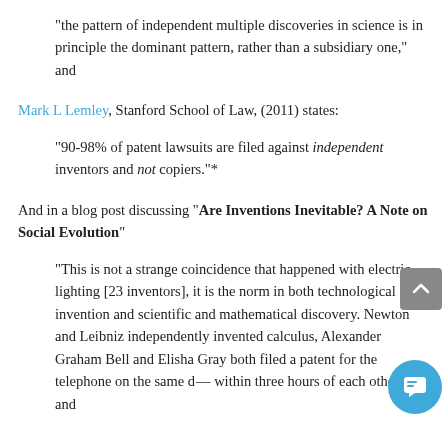“the pattern of independent multiple discoveries in science is in principle the dominant pattern, rather than a subsidiary one,” and
Mark L Lemley, Stanford School of Law, (2011) states:
“90-98% of patent lawsuits are filed against independent inventors and not copiers.”*
And in a blog post discussing “Are Inventions Inevitable? A Note on Social Evolution”
“This is not a strange coincidence that happened with electric lighting [23 inventors], it is the norm in both technological invention and scientific and mathematical discovery. Newton and Leibniz independently invented calculus, Alexander Graham Bell and Elisha Gray both filed a patent for the telephone on the same d— within three hours of each other — and